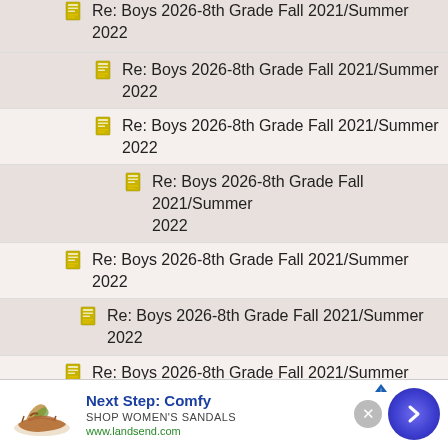Re: Boys 2026-8th Grade Fall 2021/Summer 2022
Re: Boys 2026-8th Grade Fall 2021/Summer 2022
Re: Boys 2026-8th Grade Fall 2021/Summer 2022
Re: Boys 2026-8th Grade Fall 2021/Summer 2022
Re: Boys 2026-8th Grade Fall 2021/Summer 2022
Re: Boys 2026-8th Grade Fall 2021/Summer 2022
Re: Boys 2026-8th Grade Fall 2021/Summer 2022
Re: Boys 2026-8th Grade Fall 2021/Summer 2022
Re: Boys 2026-8th Grade Fall 2021/Summer 2022
[Figure (infographic): Advertisement banner: Next Step: Comfy - Shop Women's Sandals - www.landsend.com with sandal image and arrow button]